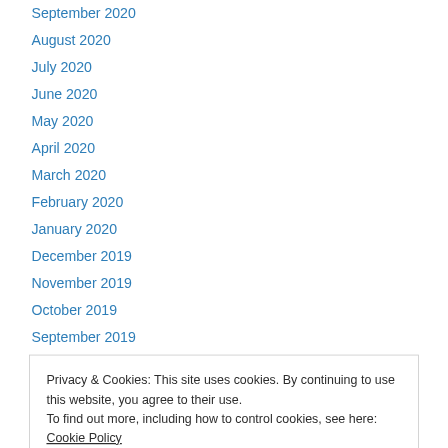September 2020
August 2020
July 2020
June 2020
May 2020
April 2020
March 2020
February 2020
January 2020
December 2019
November 2019
October 2019
September 2019
Privacy & Cookies: This site uses cookies. By continuing to use this website, you agree to their use.
To find out more, including how to control cookies, see here: Cookie Policy
February 2019